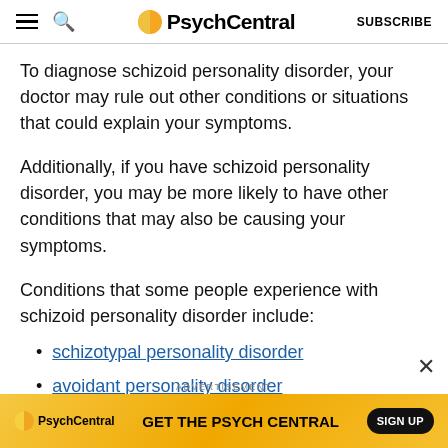PsychCentral | SUBSCRIBE
To diagnose schizoid personality disorder, your doctor may rule out other conditions or situations that could explain your symptoms.
Additionally, if you have schizoid personality disorder, you may be more likely to have other conditions that may also be causing your symptoms.
Conditions that some people experience with schizoid personality disorder include:
schizotypal personality disorder
avoidant personality disorder
[Figure (screenshot): PsychCentral advertisement banner: GET THE PSYCH CENTRAL with SIGN UP button on yellow/orange gradient background]